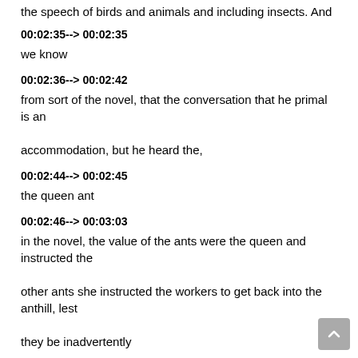the speech of birds and animals and including insects. And
00:02:35--> 00:02:35
we know
00:02:36--> 00:02:42
from sort of the novel, that the conversation that he primal is an accommodation, but he heard the,
00:02:44--> 00:02:45
the queen ant
00:02:46--> 00:03:03
in the novel, the value of the ants were the queen and instructed the other ants she instructed the workers to get back into the anthill, lest they be inadvertently